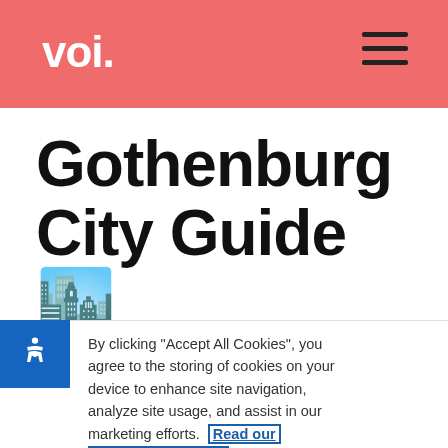voi.
Gothenburg City Guide 🏙️
By clicking "Accept All Cookies", you agree to the storing of cookies on your device to enhance site navigation, analyze site usage, and assist in our marketing efforts. Read our cookie policy here.
Cookies Settings
Reject All